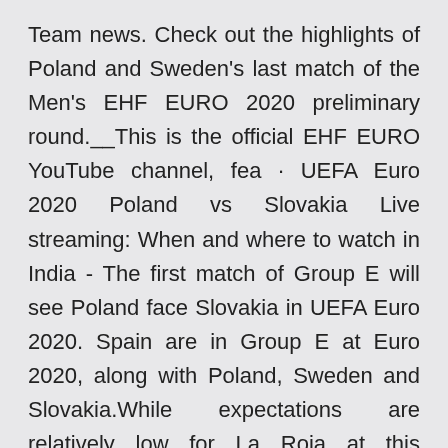Team news. Check out the highlights of Poland and Sweden's last match of the Men's EHF EURO 2020 preliminary round.__This is the official EHF EURO YouTube channel, fea · UEFA Euro 2020 Poland vs Slovakia Live streaming: When and where to watch in India - The first match of Group E will see Poland face Slovakia in UEFA Euro 2020. Spain are in Group E at Euro 2020, along with Poland, Sweden and Slovakia.While expectations are relatively low for La Roja at this tournament, they should progress comfortably from this group, even if there are more Covid-19 problems to come on the back of Sergio Busquets' positive test this week. Jun 10, 2021 · UEFA Euro 2020 Group E preview: Real Madrid-less Spain, no Zlatan for Sweden and Lewandowski's Poland Sweden vs.